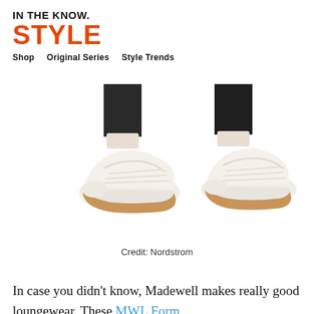IN THE KNOW. STYLE
Shop   Original Series   Style Trends
[Figure (photo): Two white sneakers with gum soles worn on feet with dark pants legs, shown from ankle down, product photos from Nordstrom]
Credit: Nordstrom
BUY NOW
In case you didn't know, Madewell makes really good loungewear. These MWL Form